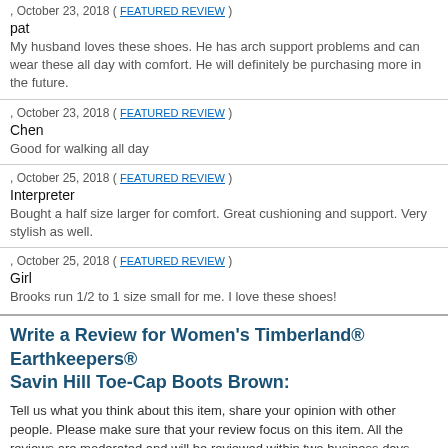, October 23, 2018 ( FEATURED REVIEW )
pat
My husband loves these shoes. He has arch support problems and can wear these all day with comfort. He will definitely be purchasing more in the future.
, October 23, 2018 ( FEATURED REVIEW )
Chen
Good for walking all day
, October 25, 2018 ( FEATURED REVIEW )
Interpreter
Bought a half size larger for comfort. Great cushioning and support. Very stylish as well.
, October 25, 2018 ( FEATURED REVIEW )
Girl
Brooks run 1/2 to 1 size small for me. I love these shoes!
Write a Review for Women's Timberland® Earthkeepers® Savin Hill Toe-Cap Boots Brown:
Tell us what you think about this item, share your opinion with other people. Please make sure that your review focus on this item. All the reviews are moderated and will be reviewed within two business days. Inappropriate reviews will not be posted.